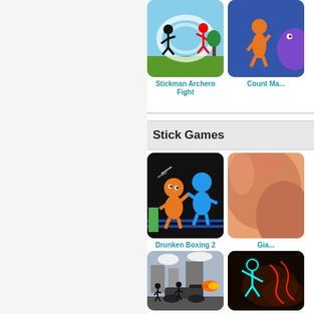[Figure (screenshot): Stickman Archero Fight game thumbnail showing black and red stickman figures on a grassy background]
Stickman Archero Fight
[Figure (screenshot): Count Masters game thumbnail showing orange stickman character with purple monster]
Count Ma...
Stick Games
[Figure (screenshot): Drunken Boxing 2 game thumbnail showing orange and blue stickman figures boxing on black background]
Drunken Boxing 2
[Figure (screenshot): Giant game thumbnail showing close-up of large character]
Gia...
[Figure (screenshot): Tank/war game thumbnail showing stickmen with tanks and fire effects in an urban setting]
[Figure (screenshot): Neon stickman fighting game thumbnail on dark background]